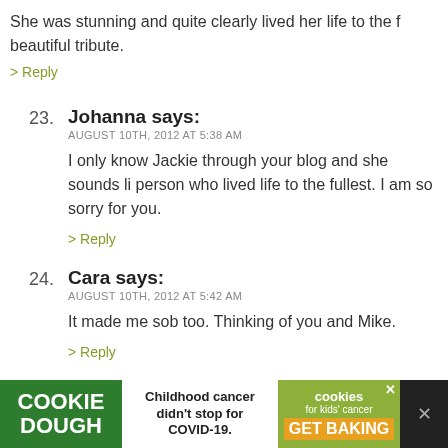She was stunning and quite clearly lived her life to the f beautiful tribute.
> Reply
23. Johanna says: AUGUST 10TH, 2012 AT 5:38 AM — I only know Jackie through your blog and she sounds li person who lived life to the fullest. I am so sorry for you.
> Reply
24. Cara says: AUGUST 10TH, 2012 AT 5:42 AM — It made me sob too. Thinking of you and Mike.
> Reply
25. Sue says: AUGUST 10TH, 2012 AT 5:43 AM
[Figure (other): Cookie Dough advertisement banner: 'Childhood cancer didn't stop for COVID-19. COOKIE DOUGH. cookies for kids cancer GET BAKING']